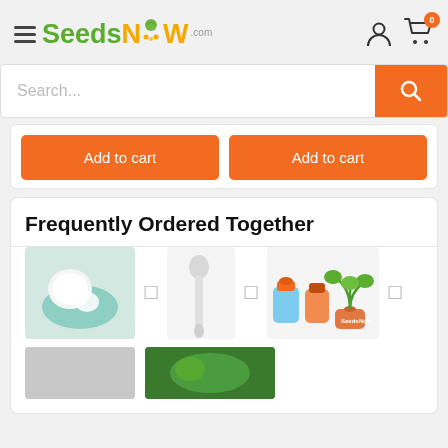SeedsNow.com header with hamburger menu, logo, user icon, cart icon with badge 0
Search...
Add to cart (×2 buttons)
Frequently Ordered Together
[Figure (photo): Hand holding a white seed or cotton material over a teal bowl]
[Figure (photo): A white dibber or planting tool]
[Figure (photo): Illustrated bottles and plant icons — SeedsNow branded product bundle]